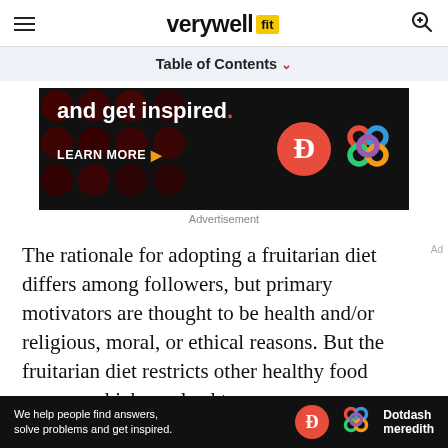verywell fit
Table of Contents
[Figure (other): Advertisement banner: dark background with red polka dots, white bold text 'and get inspired.' with red period, 'LEARN MORE' button with arrow, red circle D logo and colorful Dotdash Meredith knot logo]
Advertisement
The rationale for adopting a fruitarian diet differs among followers, but primary motivators are thought to be health and/or religious, moral, or ethical reasons. But the fruitarian diet restricts other healthy food groups, which can lead to
[Figure (other): Bottom advertisement bar: dark background, white text 'We help people find answers, solve problems and get inspired.' with D logo and Dotdash meredith branding]